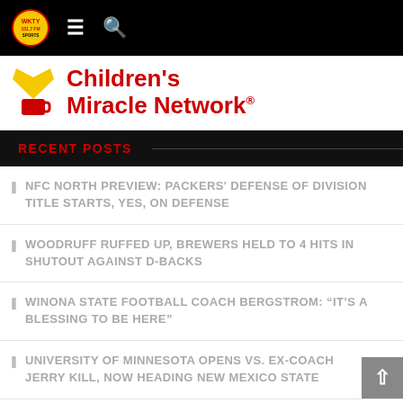WKTY radio website navigation bar with logo, menu, and search icons
[Figure (logo): Children's Miracle Network logo with yellow heart and red mug shapes, and red bold text reading Children's Miracle Network]
RECENT POSTS
NFC NORTH PREVIEW: PACKERS' DEFENSE OF DIVISION TITLE STARTS, YES, ON DEFENSE
WOODRUFF RUFFED UP, BREWERS HELD TO 4 HITS IN SHUTOUT AGAINST D-BACKS
WINONA STATE FOOTBALL COACH BERGSTROM: “IT’S A BLESSING TO BE HERE”
UNIVERSITY OF MINNESOTA OPENS VS. EX-COACH JERRY KILL, NOW HEADING NEW MEXICO STATE